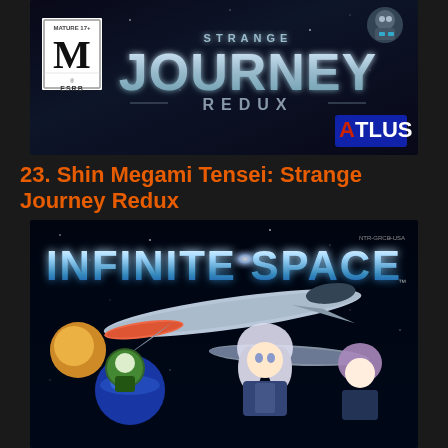[Figure (photo): Shin Megami Tensei: Strange Journey Redux game cover/banner with ESRB Mature 17+ rating, blue metallic title text on dark space background, Atlus logo in bottom right, robot character icon top right]
23. Shin Megami Tensei: Strange Journey Redux
[Figure (photo): Infinite Space game cover with blue gradient title text on dark space background, spaceships in middle, anime characters (white-haired, green-haired, purple-haired) in foreground, NTR-GRCE-USA badge top right]